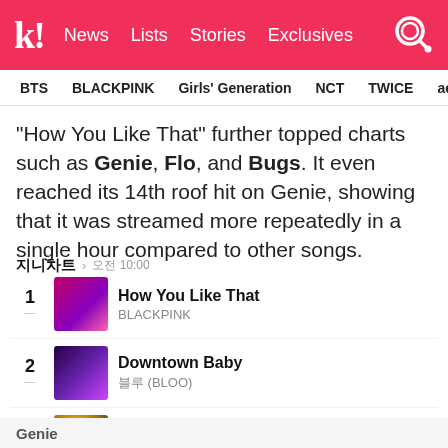k! News  Lists  Stories  Exclusives
BTS  BLACKPINK  Girls' Generation  NCT  TWICE  aespa
“How You Like That” further topped charts such as Genie, Flo, and Bugs. It even reached its 14th roof hit on Genie, showing that it was streamed more repeatedly in a single hour compared to other songs.
지니차트 › 오전 10:00
| Rank | Cover | Song | Artist |
| --- | --- | --- | --- |
| 1 |  | How You Like That | BLACKPINK |
| 2 |  | Downtown Baby | 블루 (BLOO) |
| 3 |  | Into the I-LAND | 아이유 (IU) |